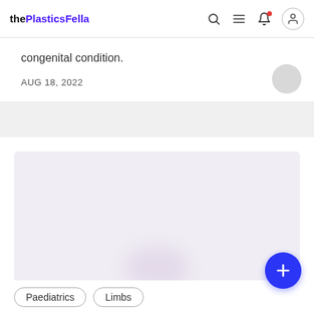thePlasticsFella
congenital condition.
AUG 18, 2022
[Figure (photo): Blurred/placeholder image with light lavender background, likely a medical or clinical photograph that is obscured]
Paediatrics
Limbs